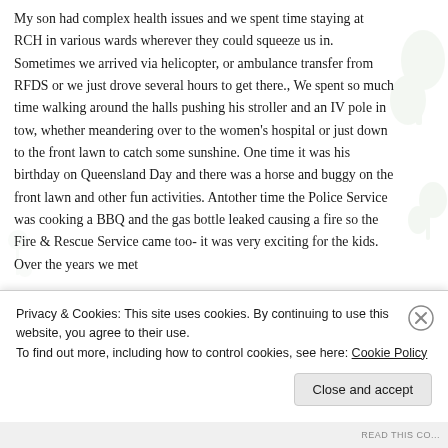My son had complex health issues and we spent time staying at RCH in various wards wherever they could squeeze us in. Sometimes we arrived via helicopter, or ambulance transfer from RFDS or we just drove several hours to get there., We spent so much time walking around the halls pushing his stroller and an IV pole in tow, whether meandering over to the women's hospital or just down to the front lawn to catch some sunshine. One time it was his birthday on Queensland Day and there was a horse and buggy on the front lawn and other fun activities. Antother time the Police Service was cooking a BBQ and the gas bottle leaked causing a fire so the Fire & Rescue Service came too- it was very exciting for the kids. Over the years we met
Privacy & Cookies: This site uses cookies. By continuing to use this website, you agree to their use.
To find out more, including how to control cookies, see here: Cookie Policy
Close and accept
READ THIS CO...